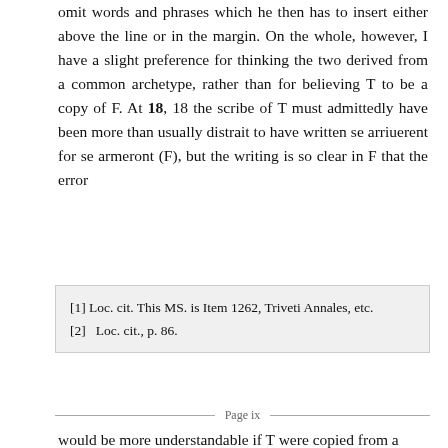omit words and phrases which he then has to insert either above the line or in the margin. On the whole, however, I have a slight preference for thinking the two derived from a common archetype, rather than for believing T to be a copy of F. At 18, 18 the scribe of T must admittedly have been more than usually distrait to have written se arriuerent for se armeront (F), but the writing is so clear in F that the error
[1] Loc. cit. This MS. is Item 1262, Triveti Annales, etc.
[2]  Loc. cit., p. 86.
Page ix
would be more understandable if T were copied from a text less well written and set out than F.
I consider F to be slightly more faithful than T to the archetype, and, having chosen it as the basis of the present edition, I add a few remarks on the physical aspect of the folios devoted to The Crusade and Death